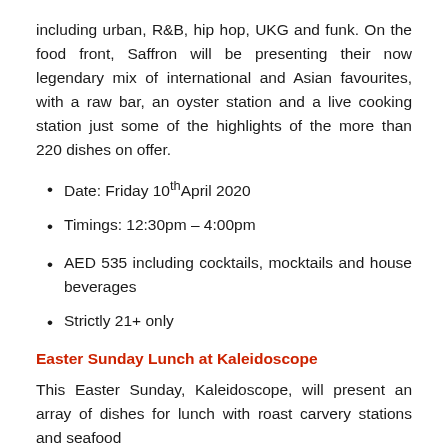including urban, R&B, hip hop, UKG and funk. On the food front, Saffron will be presenting their now legendary mix of international and Asian favourites, with a raw bar, an oyster station and a live cooking station just some of the highlights of the more than 220 dishes on offer.
Date: Friday 10th April 2020
Timings: 12:30pm – 4:00pm
AED 535 including cocktails, mocktails and house beverages
Strictly 21+ only
Easter Sunday Lunch at Kaleidoscope
This Easter Sunday, Kaleidoscope, will present an array of dishes for lunch with roast carvery stations and seafood